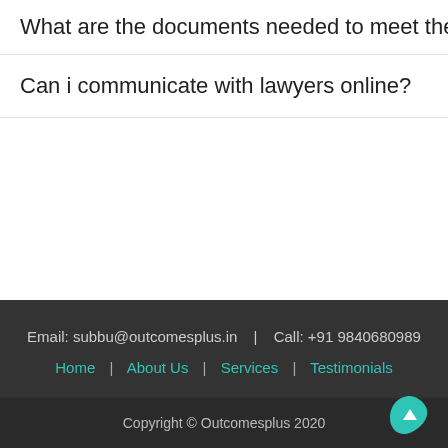What are the documents needed to meet the lawy…
Can i communicate with lawyers online?
Email: subbu@outcomesplus.in | Call: +91 9840680989
Home | About Us | Services | Testimonials
Copyright © Outcomesplus 2020